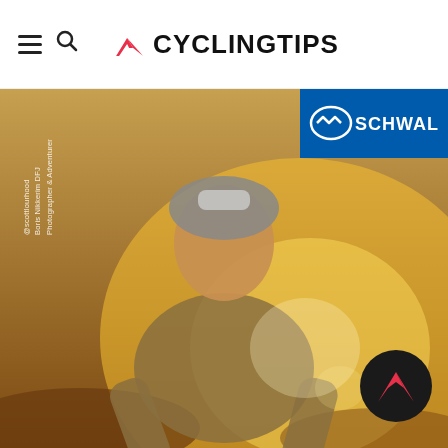CyclingTips
[Figure (logo): Schwalbe advertisement logo — white Schwalbe logo on blue background, top right corner]
[Figure (photo): A male cyclist wearing a grey long-sleeve jersey and a cycling helmet with goggles, riding a bike against a bright golden sunset background. Photo credit: @scottlourhood / Boris Nikkerim DFJ / Photographer & Adventurer. Backlit warm sunlight, dramatic athletic portrait.]
[Figure (logo): CyclingTips mountain/chevron logo watermark in pink and black circle, bottom right corner]